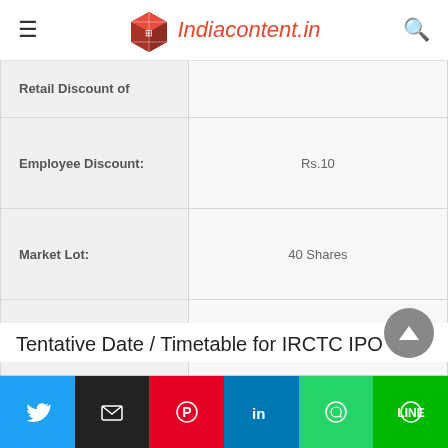Indiacontent.in
| Field | Value |
| --- | --- |
| Retail Discount of |  |
| Employee Discount: | Rs.10 |
| Market Lot: | 40 Shares |
| Min Order Quantity: | 40 Shares |
| Listing At– | BSE, NSE |
Tentative Date / Timetable for IRCTC IPO
Twitter | Email | Pinterest | LinkedIn | WhatsApp | LINE